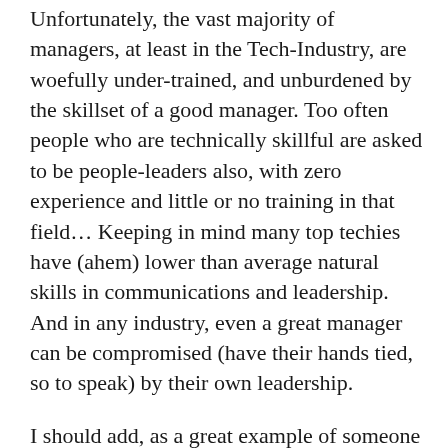Unfortunately, the vast majority of managers, at least in the Tech-Industry, are woefully under-trained, and unburdened by the skillset of a good manager. Too often people who are technically skillful are asked to be people-leaders also, with zero experience and little or no training in that field… Keeping in mind many top techies have (ahem) lower than average natural skills in communications and leadership. And in any industry, even a great manager can be compromised (have their hands tied, so to speak) by their own leadership.
I should add, as a great example of someone who started out my career with very poor “soft” skills, these skills are learn-able.
If there is a one-liner for how to be a good boss, I think it’s this: